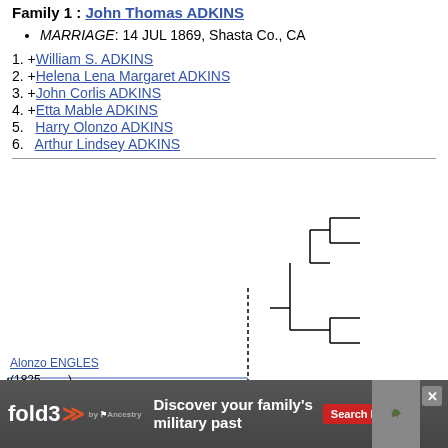Family 1 : John Thomas ADKINS
MARRIAGE: 14 JUL 1869, Shasta Co., CA
1. +William S. ADKINS
2. +Helena Lena Margaret ADKINS
3. +John Corlis ADKINS
4. +Etta Mable ADKINS
5.  Harry Olonzo ADKINS
6.  Arthur Lindsey ADKINS
[Figure (other): Genealogy tree diagram showing ancestors with dashed line box connectors. Alonzo ENGLES (1825 - ....) shown at lower left connected to tree structure.]
[Figure (other): Advertisement banner for fold3 by Ancestry: Discover your family's military past. Search Now button.]